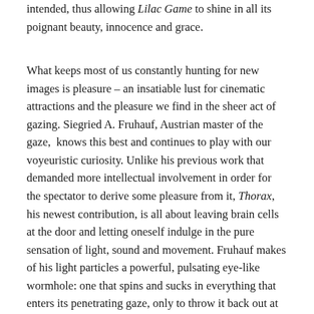intended, thus allowing Lilac Game to shine in all its poignant beauty, innocence and grace.
What keeps most of us constantly hunting for new images is pleasure – an insatiable lust for cinematic attractions and the pleasure we find in the sheer act of gazing. Siegried A. Fruhauf, Austrian master of the gaze,  knows this best and continues to play with our voyeuristic curiosity. Unlike his previous work that demanded more intellectual involvement in order for the spectator to derive some pleasure from it, Thorax, his newest contribution, is all about leaving brain cells at the door and letting oneself indulge in the pure sensation of light, sound and movement. Fruhauf makes of his light particles a powerful, pulsating eye-like wormhole: one that spins and sucks in everything that enters its penetrating gaze, only to throw it back out at you. It's a crazy game of ping-pong, one of dynamic exchange of gazes, which gives rise to a sort of silent dialogue between spectator and filmmaker, making Thorax a highly